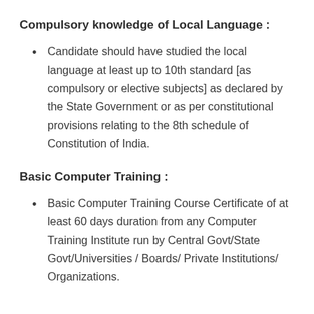Compulsory knowledge of Local Language :
Candidate should have studied the local language at least up to 10th standard [as compulsory or elective subjects] as declared by the State Government or as per constitutional provisions relating to the 8th schedule of Constitution of India.
Basic Computer Training :
Basic Computer Training Course Certificate of at least 60 days duration from any Computer Training Institute run by Central Govt/State Govt/Universities / Boards/ Private Institutions/ Organizations.